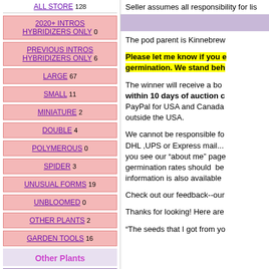ALL STORE 128
2020+ INTROS HYBRIDIZERS ONLY 0
PREVIOUS INTROS HYBRIDIZERS ONLY 6
LARGE 67
SMALL 11
MINIATURE 2
DOUBLE 4
POLYMEROUS 0
SPIDER 3
UNUSUAL FORMS 19
UNBLOOMED 0
OTHER PLANTS 2
GARDEN TOOLS 16
Other Plants
HOSTA 0
Seller assumes all responsibility for lis
The pod parent is Kinnebrew
Please let me know if you e germination. We stand beh
The winner will receive a bo within 10 days of auction c PayPal for USA and Canada outside the USA.
We cannot be responsible fo DHL ,UPS or Express mail... you see our "about me" page germination rates should be information is also available
Check out our feedback--our
Thanks for looking! Here are
"The seeds that I got from yo